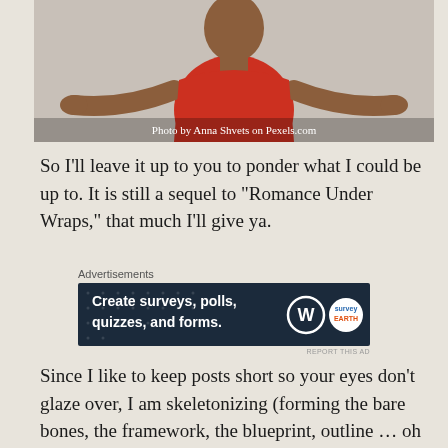[Figure (photo): A person in a red top with arms spread wide, against a light grey background. Photo credit: Photo by Anna Shvets on Pexels.com]
Photo by Anna Shvets on Pexels.com
So I'll leave it up to you to ponder what I could be up to. It is still a sequel to “Romance Under Wraps,” that much I'll give ya.
Advertisements
[Figure (screenshot): Advertisement banner: Create surveys, polls, quizzes, and forms. WordPress logo and badge shown.]
REPORT THIS AD
Since I like to keep posts short so your eyes don’t glaze over, I am skeletonizing (forming the bare bones, the framework, the blueprint, outline … oh you get it) the sequel to “Rules of Engagement,” where it looks to